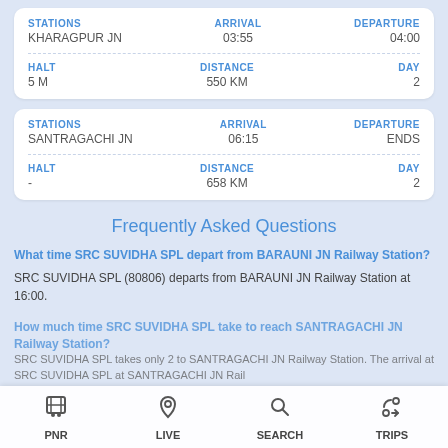| STATIONS | ARRIVAL | DEPARTURE |
| --- | --- | --- |
| KHARAGPUR JN | 03:55 | 04:00 |
| HALT | DISTANCE | DAY |
| --- | --- | --- |
| 5 M | 550 KM | 2 |
| STATIONS | ARRIVAL | DEPARTURE |
| --- | --- | --- |
| SANTRAGACHI JN | 06:15 | ENDS |
| HALT | DISTANCE | DAY |
| --- | --- | --- |
| - | 658 KM | 2 |
Frequently Asked Questions
What time SRC SUVIDHA SPL depart from BARAUNI JN Railway Station?
SRC SUVIDHA SPL (80806) departs from BARAUNI JN Railway Station at 16:00.
How much time SRC SUVIDHA SPL take to reach SANTRAGACHI JN Railway Station?
SRC SUVIDHA SPL takes only 2 to SANTRAGACHI JN Railway Station. The arrival at SRC SUVIDHA SPL at SANTRAGACHI JN Railway Station is...